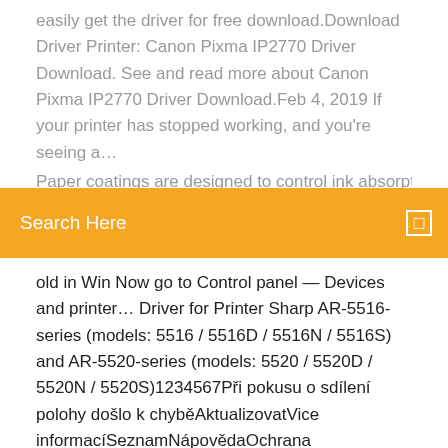easily get the driver for free download.Download Driver Printer: Canon Pixma IP2770 Driver Download. See and read more about Canon Pixma IP2770 Driver Download.Feb 4, 2019 If your printer has stopped working, and you're seeing a…
Paper coatings are designed to control ink absorption and
Search Here
old in Win Now go to Control panel — Devices and printer… Driver for Printer Sharp AR-5516-series (models: 5516 / 5516D / 5516N / 5516S) and AR-5520-series (models: 5520 / 5520D / 5520N / 5520S)1234567Při pokusu o sdílení polohy došlo k chyběAktualizovatVice informacíSeznamNápovědaOchrana údajůStatistika hledanostiPřidat stránku do hledání odkazuje na služby nejen od Seznam.cz. Vice o upoutávkách© 1996–2020 Seznam.cz, a.s. Have a look at the manual Sharp AL 2021 User Manual online for free. It's possible to download the document